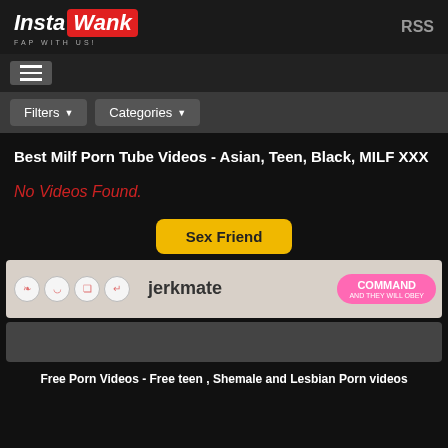InstaWank FAP WITH US! RSS
[Figure (logo): InstaWank logo with red background on Wank text and tagline FAP WITH US!]
Filters ▾   Categories ▾
Best Milf Porn Tube Videos - Asian, Teen, Black, MILF XXX
No Videos Found.
Sex Friend
[Figure (screenshot): jerkmate COMMAND AND THEY WILL OBEY advertisement banner with model photo and icons]
[Figure (other): Second advertisement banner, dark background]
Free Porn Videos - Free teen , Shemale and Lesbian Porn videos